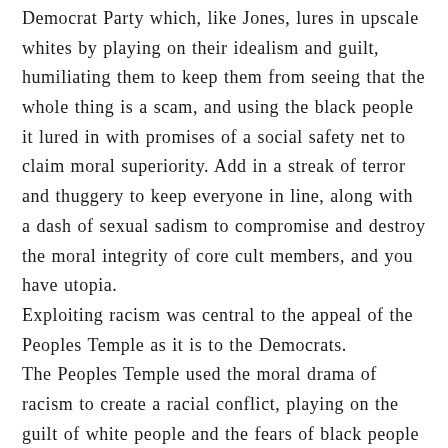Democrat Party which, like Jones, lures in upscale whites by playing on their idealism and guilt, humiliating them to keep them from seeing that the whole thing is a scam, and using the black people it lured in with promises of a social safety net to claim moral superiority. Add in a streak of terror and thuggery to keep everyone in line, along with a dash of sexual sadism to compromise and destroy the moral integrity of core cult members, and you have utopia.
Exploiting racism was central to the appeal of the Peoples Temple as it is to the Democrats.
The Peoples Temple used the moral drama of racism to create a racial conflict, playing on the guilt of white people and the fears of black people to divide them, threatening apocalypse and offering redemption